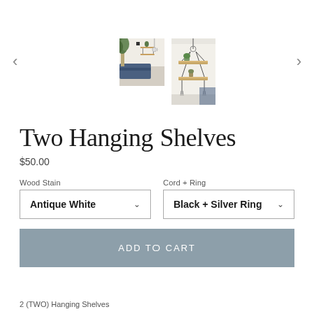[Figure (photo): Product image gallery showing two thumbnail photos of hanging wooden shelves. Left thumbnail shows room setting with plants and blue couch. Right thumbnail shows close-up of two-tiered hanging wooden shelf with rope/cord suspension.]
Two Hanging Shelves
$50.00
Wood Stain
Antique White
Cord + Ring
Black + Silver Ring
ADD TO CART
2 (TWO) Hanging Shelves